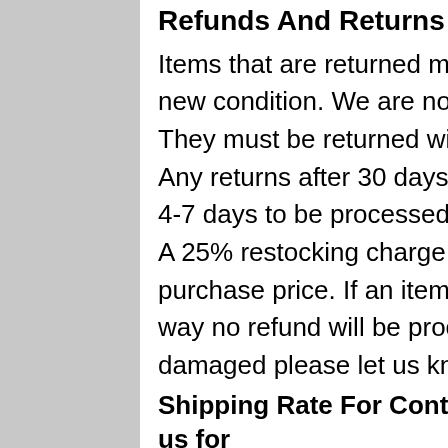Refunds And Returns
Items that are returned must be in original package and in new condition. We are not responsible for return shipping. They must be returned within 30 days of the purchase date. Any returns after 30 days will not be accepted. Refunds takes 4-7 days to be processed and appear back on the card used. A 25% restocking charge will be deducted from the original purchase price. If an item has been installed or altered in any way no refund will be processed. If you receive an item that is damaged please let us know ASAP so we can assist you.
Shipping Rate For Continental US Only. Please contact us for